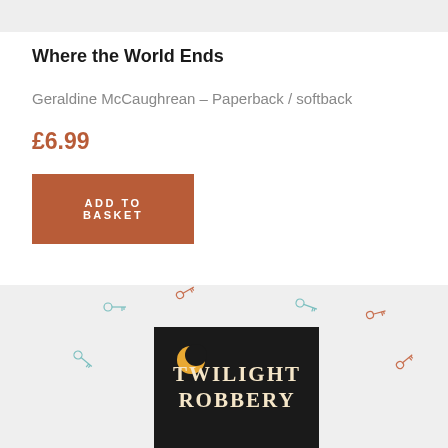[Figure (photo): Top portion of a book product listing page, cropped image area at top]
Where the World Ends
Geraldine McCaughrean – Paperback / softback
£6.99
ADD TO BASKET
[Figure (photo): Book cover for 'Twilight Robbery' on dark background with illustrated keys scattered around the title text]